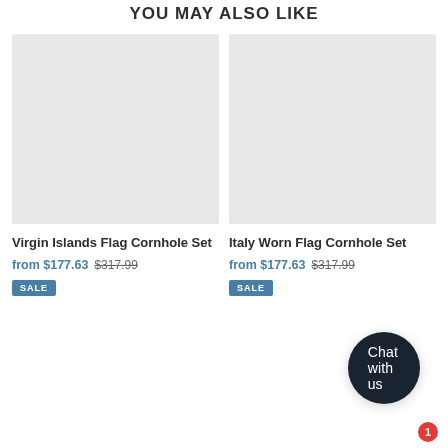YOU MAY ALSO LIKE
[Figure (other): Product image placeholder for Virgin Islands Flag Cornhole Set (gray rectangle)]
Virgin Islands Flag Cornhole Set
from $177.63  $317.99
SALE
[Figure (other): Product image placeholder for Italy Worn Flag Cornhole Set (gray rectangle)]
Italy Worn Flag Cornhole Set
from $177.63  $317.99
SALE
Chat with us